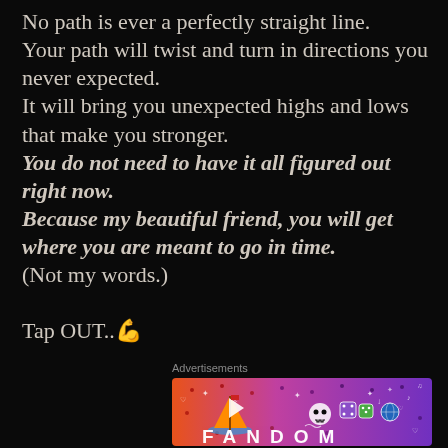No path is ever a perfectly straight line. Your path will twist and turn in directions you never expected. It will bring you unexpected highs and lows that make you stronger. You do not need to have it all figured out right now. Because my beautiful friend, you will get where you are meant to go in time. (Not my words.)
Tap OUT..💪
Advertisements
[Figure (illustration): Fandom advertisement banner with colorful gradient background (orange to purple), featuring a sailboat sticker, skull icon, dice icons, musical notes, and the word FANDOM in large white letters.]